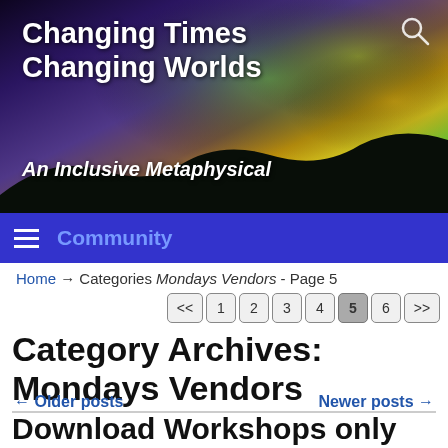[Figure (photo): Website header banner showing northern lights / aurora borealis over dark silhouetted hills, with green, yellow, purple hues in the sky]
Changing Times Changing Worlds
An Inclusive Metaphysical Community
Community navigation bar with hamburger menu
Home → Categories Mondays Vendors - Page 5
<< 1 2 3 4 5 6 >>
Category Archives: Mondays Vendors
← Older posts   Newer posts →
Download Workshops only $2.99!
June 6, 2016   Tchipakkan